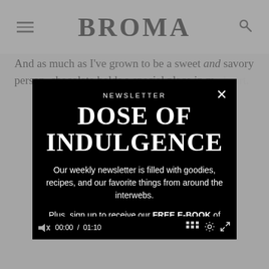BROMA
And as much as I've grown to be a sweet and savory person, chocolate holds a special place in m...
[Figure (screenshot): Newsletter modal popup with black background showing 'NEWSLETTER DOSE OF INDULGENCE' title, description text about weekly newsletter with goodies, recipes, and favorite things from around the interwebs, plus offer of FREE E-BOOK of 10 most popular recipes of all time. Has a close X button and video controls showing 00:00 / 01:10 timecode.]